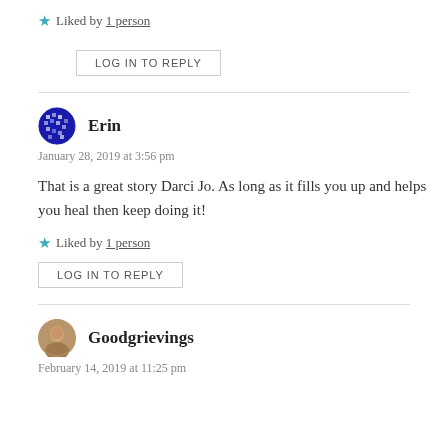★ Liked by 1 person
LOG IN TO REPLY
Erin
January 28, 2019 at 3:56 pm
That is a great story Darci Jo. As long as it fills you up and helps you heal then keep doing it!
★ Liked by 1 person
LOG IN TO REPLY
Goodgrievings
February 14, 2019 at 11:25 pm